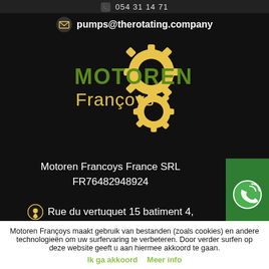054 31 14 71
pumps@therotating.company
[Figure (logo): Motoren Françoys logo with two golden gear icons and green/golden text]
Motoren Francoys France SRL
FR76482948924
Rue du vertuquet 15 batiment 4,
59960 Neuville-en-Ferrain
France
Motoren Françoys maakt gebruik van bestanden (zoals cookies) en andere technologieën om uw surfervaring te verbeteren. Door verder surfen op deze website geeft u aan hiermee akkoord te gaan.
Ik ga akkoord   Meer info